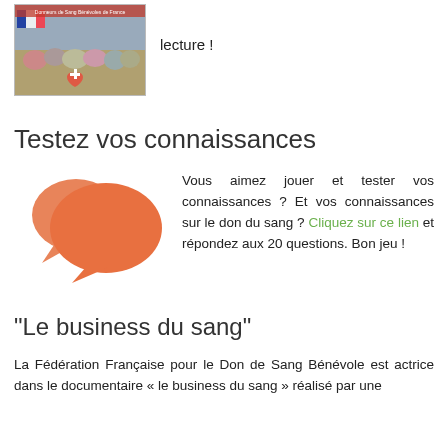[Figure (photo): Photo of a group of people gathered outdoors with a French flag and red cross / heart symbols, related to blood donation event. Small red banner text at top.]
lecture !
Testez vos connaissances
[Figure (illustration): Two overlapping orange speech bubble / chat icons]
Vous aimez jouer et tester vos connaissances ? Et vos connaissances sur le don du sang ? Cliquez sur ce lien et répondez aux 20 questions. Bon jeu !
"Le business du sang"
La Fédération Française pour le Don de Sang Bénévole est actrice dans le documentaire « le business du sang » réalisé par une